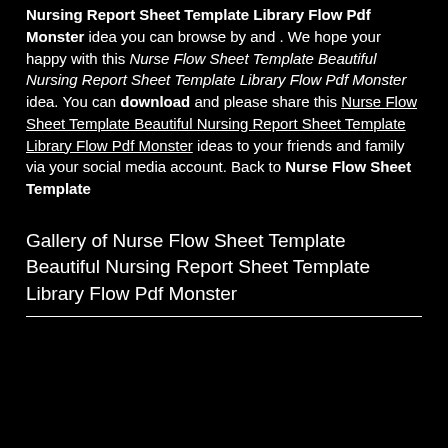Nursing Report Sheet Template Library Flow Pdf Monster idea you can browse by and . We hope your happy with this Nurse Flow Sheet Template Beautiful Nursing Report Sheet Template Library Flow Pdf Monster idea. You can download and please share this Nurse Flow Sheet Template Beautiful Nursing Report Sheet Template Library Flow Pdf Monster ideas to your friends and family via your social media account. Back to Nurse Flow Sheet Template
Gallery of Nurse Flow Sheet Template Beautiful Nursing Report Sheet Template Library Flow Pdf Monster